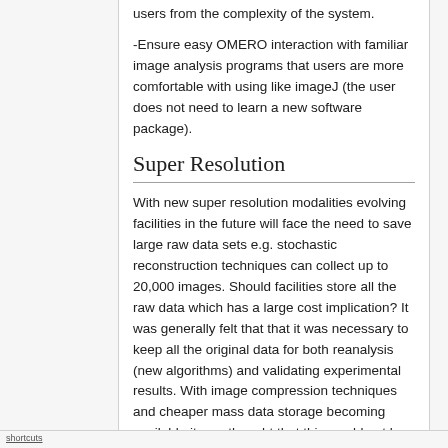users from the complexity of the system.
-Ensure easy OMERO interaction with familiar image analysis programs that users are more comfortable with using like imageJ (the user does not need to learn a new software package).
Super Resolution
With new super resolution modalities evolving facilities in the future will face the need to save large raw data sets e.g. stochastic reconstruction techniques can collect up to 20,000 images. Should facilities store all the raw data which has a large cost implication? It was generally felt that that it was necessary to keep all the original data for both reanalysis (new algorithms) and validating experimental results. With image compression techniques and cheaper mass data storage becoming available it was thought that this would not be a problem.
shortcuts